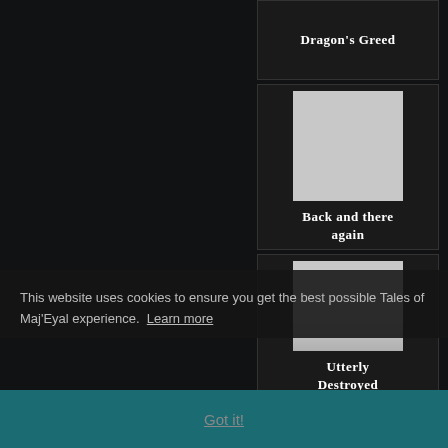Dragon's Greed
[Figure (illustration): Gray placeholder image for 'Back and there again' achievement]
Back and there again
[Figure (illustration): Gray placeholder image for 'Utterly Destroyed' achievement]
Utterly Destroyed
[Figure (illustration): Circular illustration showing a figure in a green glowing environment for 'Guiding Hand' achievement]
Guiding Hand
This website uses cookies to ensure you get the best possible Tales of Maj'Eyal experience. Learn more
Got it!